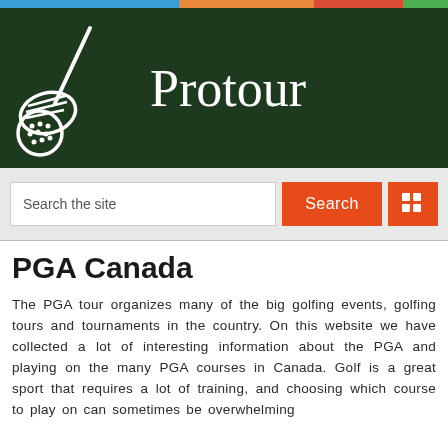[Figure (logo): Protour golf website logo with golf club and ball icon on dark green background, text reads 'Protour']
Search the site
PGA Canada
The PGA tour organizes many of the big golfing events, golfing tours and tournaments in the country. On this website we have collected a lot of interesting information about the PGA and playing on the many PGA courses in Canada. Golf is a great sport that requires a lot of training, and choosing which course to play on can sometimes be overwhelming